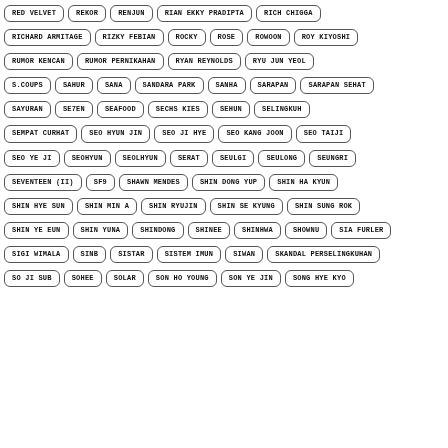RED VELVET
REKOR
RENJUN
RIAN EKKY PRADIPTA
RICH CHIGGA
RICHARD ARMITAGE
RIZKY FEBIAN
ROCKY
ROSE
ROWOON
ROY KIYOSHI
RUMOR KENCAN
RUMOR PERNIKAHAN
RYAN REYNOLDS
RYU JUN YEOL
S.COUPS
SAHUR
SANA
SANDARA PARK
SANHA
SARAPAN
SARAPAN SEHAT
SAYURAN
SE7EN
SEAFOOD
SECHS KIES
SEHUN
SELINGKUH
SEMPAT CURHAT
SEO HYUN JIN
SEO JI HYE
SEO KANG JOON
SEO TAIJI
SEO YE JI
SEOHYUN
SEOLHYUN
SERAT
SEULGI
SEULONG
SEUNGRI
SEVENTEEN (II)
SF9
SHAWN MENDES
SHIN DONG YUP
SHIN HA KYUN
SHIN HYE SUN
SHIN MIN A
SHIN RYUJIN
SHIN SE KYUNG
SHIN SUNG ROK
SHIN YE EUN
SHIN YUNA
SHINDONG
SHINEE
SHINHWA
SHOWNU
SIA FURLER
SIGI WIMALA
SINB
SISTAR
SISTEM IMUN
SIWAN
SKANDAL PERSELINGKUHAN
SO JI SUB
SOHEE
SOLAR
SON HO YOUNG
SON YE JIN
SONG HYE KYO